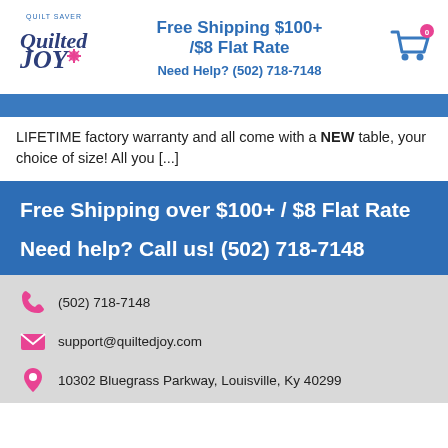[Figure (logo): Quilted Joy quilt saver logo with fairy/pixie graphic]
Free Shipping $100+ /$8 Flat Rate
Need Help? (502) 718-7148
[Figure (illustration): Shopping cart icon with 0 badge]
LIFETIME factory warranty and all come with a NEW table, your choice of size! All you [...]
Free Shipping over $100+ / $8 Flat Rate
Need help? Call us! (502) 718-7148
(502) 718-7148
support@quiltedjoy.com
10302 Bluegrass Parkway, Louisville, Ky 40299